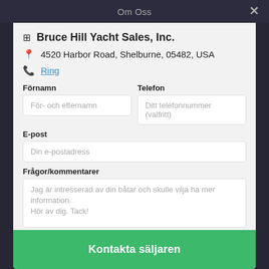Om Oss
Bruce Hill Yacht Sales, Inc.
4520 Harbor Road, Shelburne, 05482, USA
Ring
Förnamn
För- och efternamn
Telefon
Ditt telefonnummer (valfritt)
E-post
Din e-postadress
Frågor/kommentarer
Jag är intresserad av din båtar och skulle vilja ha mer information. Hör av dig. Tack!
Kontakta säljaren